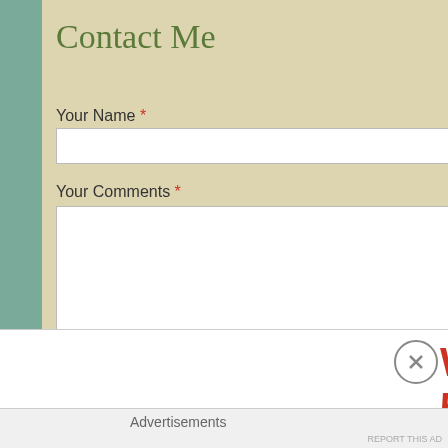Contact Me
Your Name *
Email *
Your Comments *
Submit
Advertisements